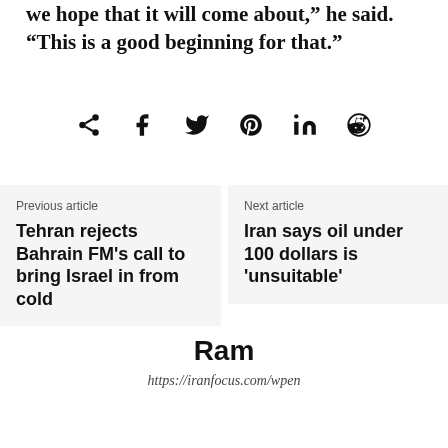we hope that it will come about," he said. "This is a good beginning for that."
[Figure (infographic): Social sharing icons row: share, Facebook, Twitter, Pinterest, LinkedIn, Reddit]
Previous article
Tehran rejects Bahrain FM's call to bring Israel in from cold
Next article
Iran says oil under 100 dollars is 'unsuitable'
Ram
https://iranfocus.com/wpen